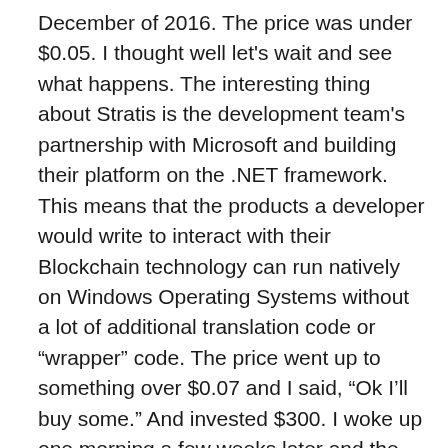December of 2016. The price was under $0.05. I thought well let's wait and see what happens. The interesting thing about Stratis is the development team's partnership with Microsoft and building their platform on the .NET framework. This means that the products a developer would write to interact with their Blockchain technology can run natively on Windows Operating Systems without a lot of additional translation code or “wrapper” code. The price went up to something over $0.07 and I said, “Ok I’ll buy some.” And invested $300. I woke up one morning a few weeks later and the price is over $0.30, and has been hovering between $0.40 and $0.50 the last two weeks. The currency had a lot of earmarks of something I thought was a good investment, and I kick myself for not putting in $1500 or more at the $0.07 price.